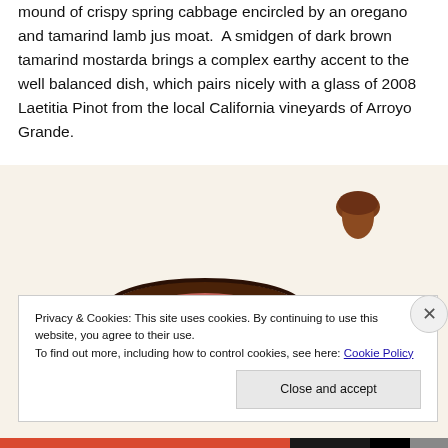mound of crispy spring cabbage encircled by an oregano and tamarind lamb jus moat.  A smidgen of dark brown tamarind mostarda brings a complex earthy accent to the well balanced dish, which pairs nicely with a glass of 2008 Laetitia Pinot from the local California vineyards of Arroyo Grande.
[Figure (photo): A photo of a seared meat dish (lamb) with golden jus on a white plate, and a small bowl of dark brown tamarind mostarda sauce visible at top right.]
Privacy & Cookies: This site uses cookies. By continuing to use this website, you agree to their use.
To find out more, including how to control cookies, see here: Cookie Policy
Close and accept